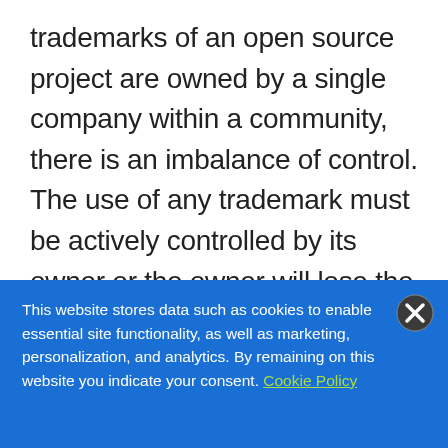trademarks of an open source project are owned by a single company within a community, there is an imbalance of control. The use of any trademark must be actively controlled by its owner or the owner will lose the right to control its use. The reservation of this exclusive right to exercise such control necessarily undermines the level playing field that is the basis for open governance. This is especially the case where the trademark is
This website stores data such as cookies to enable essential site functionality, as well as marketing, personalization, and analytics. By remaining on this website you indicate your consent. Cookie Policy